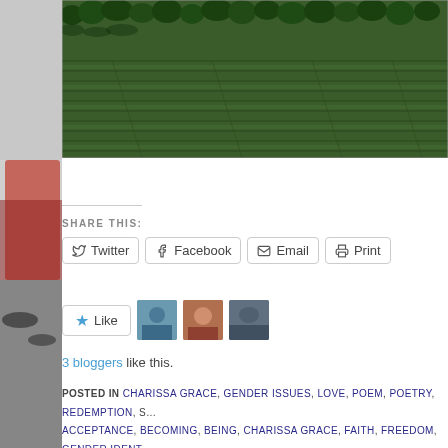[Figure (photo): Aerial view of green agricultural fields with rows of crops and trees at the top edge]
[Figure (photo): Left sidebar showing partial view of decorative image with red and blue elements]
SHARE THIS:
Twitter | Facebook | Email | Print (share buttons)
Like button with 3 blogger avatars. 3 bloggers like this.
POSTED IN CHARISSA GRACE, GENDER ISSUES, LOVE, POEM, POETRY, REDEMPTION, ACCEPTANCE, BECOMING, BEING, CHARISSA GRACE, FAITH, FREEDOM, GENDER IDENTITY, LOVE, MAMA, MERCY, POEM, POETRY, REDEMPTION, RELIGION AND SPIRITUALITY, TRANSFORMATION, TRANSGENDER AWARENESS, TRANSGENDER ISSUES, TRANSITION